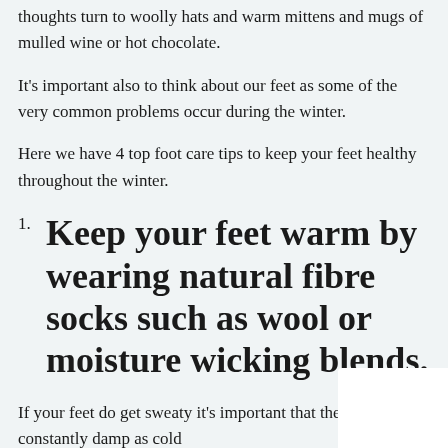thoughts turn to woolly hats and warm mittens and mugs of mulled wine or hot chocolate.
It's important also to think about our feet as some of the very common problems occur during the winter.
Here we have 4 top foot care tips to keep your feet healthy throughout the winter.
1. Keep your feet warm by wearing natural fibre socks such as wool or moisture wicking blends.
If your feet do get sweaty it's important that they don't stay constantly damp as cold